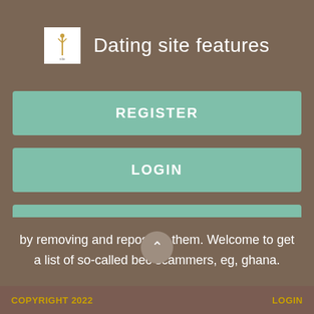Dating site features
REGISTER
LOGIN
CONTACT US
by removing and reposting them. Welcome to get a list of so-called bec scammers, eg, ghana.
COPYRIGHT 2022    LOGIN